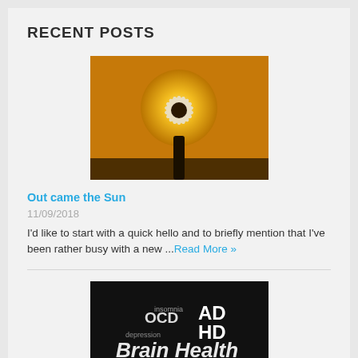RECENT POSTS
[Figure (photo): A daisy flower silhouetted against a bright golden sun background]
Out came the Sun
11/09/2018
I'd like to start with a quick hello and to briefly mention that I've been rather busy with a new ...Read More »
[Figure (photo): Chalkboard with brain health related words: OCD, ADHD, Brain Health, Addiction, Autism, Memory, Depression, Insomnia]
The Sound of Silence
07/11/2017